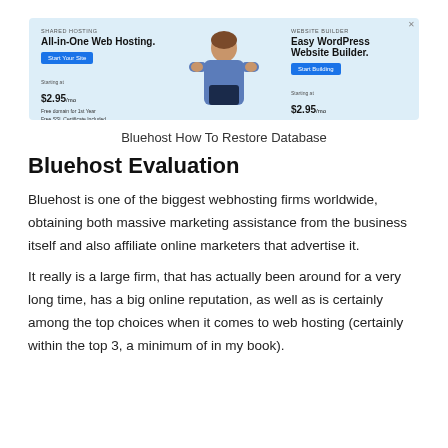[Figure (screenshot): Bluehost advertisement banner showing two panels: left panel 'All-in-One Web Hosting' starting at $2.95/mo with blue 'Start Your Site' button, right panel 'Easy WordPress Website Builder' starting at $2.95/mo with blue 'Start Building' button, and a person figure in the center.]
Bluehost How To Restore Database
Bluehost Evaluation
Bluehost is one of the biggest webhosting firms worldwide, obtaining both massive marketing assistance from the business itself and also affiliate online marketers that advertise it.
It really is a large firm, that has actually been around for a very long time, has a big online reputation, as well as is certainly among the top choices when it comes to web hosting (certainly within the top 3, a minimum of in my book).